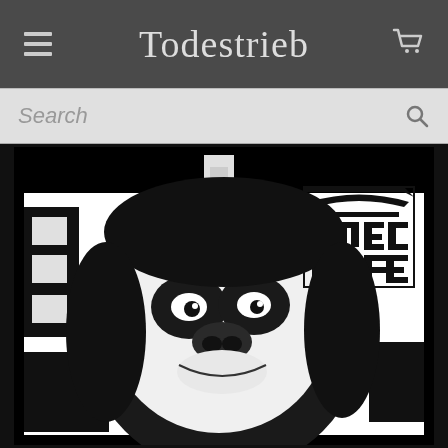Todestrieb
Search
[Figure (photo): Black and white high-contrast album art showing a close-up of a primate/monkey face with a band logo in the upper right corner reading what appears to be 'Dead World' in extreme metal style lettering]